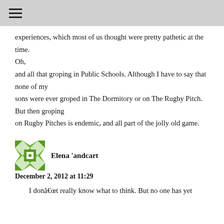≡
experiences, which most of us thought were pretty pathetic at the time.
Oh,
and all that groping in Public Schools. Although I have to say that none of my
sons were ever groped in The Dormitory or on The Rugby Pitch. But then groping
on Rugby Pitches is endemic, and all part of the jolly old game.
[Figure (illustration): Green geometric/quilt pattern avatar icon for user Elena 'andcart]
Elena 'andcart
December 2, 2012 at 11:29
I donât really know what to think. But no one has yet